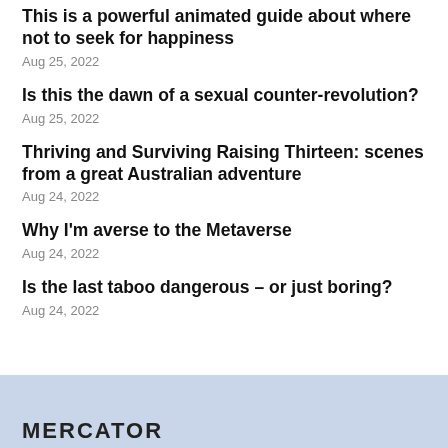This is a powerful animated guide about where not to seek for happiness
Aug 25, 2022
Is this the dawn of a sexual counter-revolution?
Aug 25, 2022
Thriving and Surviving Raising Thirteen: scenes from a great Australian adventure
Aug 24, 2022
Why I'm averse to the Metaverse
Aug 24, 2022
Is the last taboo dangerous – or just boring?
Aug 24, 2022